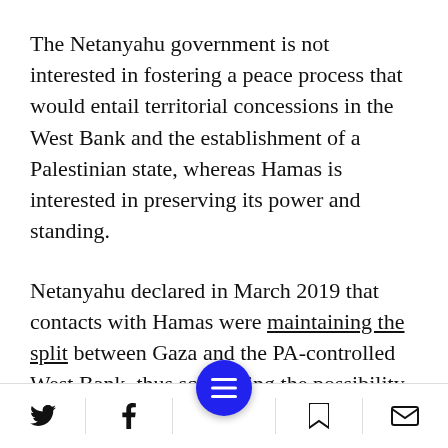The Netanyahu government is not interested in fostering a peace process that would entail territorial concessions in the West Bank and the establishment of a Palestinian state, whereas Hamas is interested in preserving its power and standing.
Netanyahu declared in March 2019 that contacts with Hamas were maintaining the split between Gaza and the PA-controlled West Bank, thus scuppering the possibility of establishing Palestinian state. A close
Social share and navigation footer bar with Twitter, Facebook, menu, bookmark, and mail icons